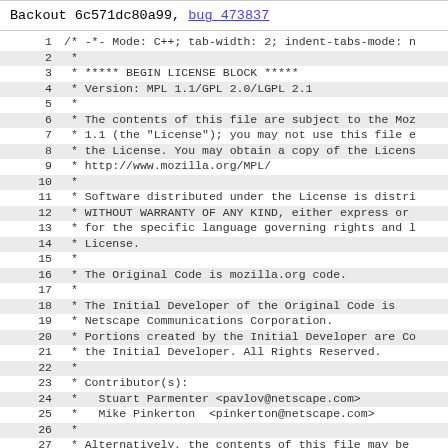Backout 6c571dc80a99, bug_473837
Code listing lines 1-28 showing MPL 1.1/GPL 2.0/LGPL 2.1 license block header from a C++ file